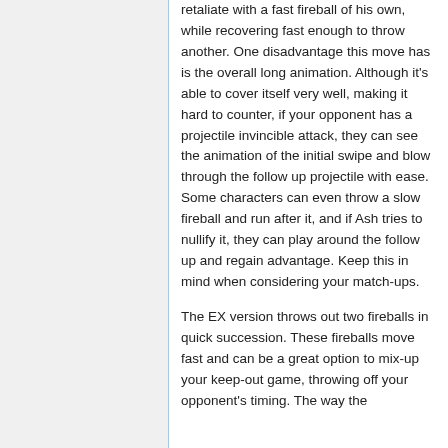retaliate with a fast fireball of his own, while recovering fast enough to throw another. One disadvantage this move has is the overall long animation. Although it's able to cover itself very well, making it hard to counter, if your opponent has a projectile invincible attack, they can see the animation of the initial swipe and blow through the follow up projectile with ease. Some characters can even throw a slow fireball and run after it, and if Ash tries to nullify it, they can play around the follow up and regain advantage. Keep this in mind when considering your match-ups.
The EX version throws out two fireballs in quick succession. These fireballs move fast and can be a great option to mix-up your keep-out game, throwing off your opponent's timing. The way the